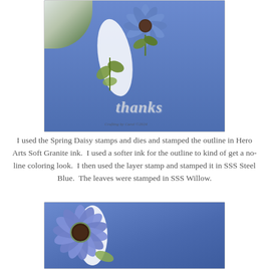[Figure (photo): A handmade greeting card with a blue daisy flower stamped on blue cardstock, with green leaves, a white oval shape, and the word 'thanks' in silver/gray script lettering. A white flower is visible in the background top left. Watermark reads 'Crafting by Carol ©2024'.]
I used the Spring Daisy stamps and dies and stamped the outline in Hero Arts Soft Granite ink.  I used a softer ink for the outline to kind of get a no-line coloring look.  I then used the layer stamp and stamped it in SSS Steel Blue.  The leaves were stamped in SSS Willow.
[Figure (photo): Close-up photo of the same handmade card showing the blue daisy flower in detail with its metallic blue petals, brown center, and green leaves on the blue cardstock background.]